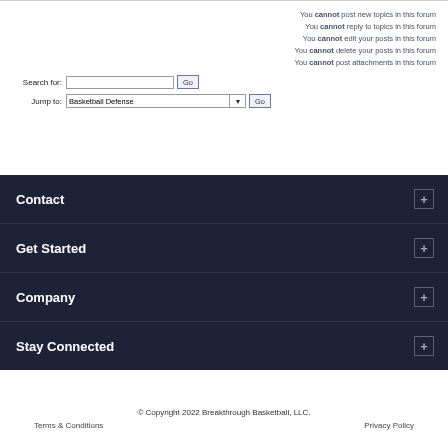You cannot post new topics in this forum
You cannot reply to topics in this forum
You cannot edit your posts in this forum
You cannot delete your posts in this forum
You cannot post attachments in this forum
Search for:
Jump to: Basketball Defense
Contact
Get Started
Company
Stay Connected
© Copyright 2022 Breakthrough Basketball, LLC.
Terms & Conditions   Privacy Policy